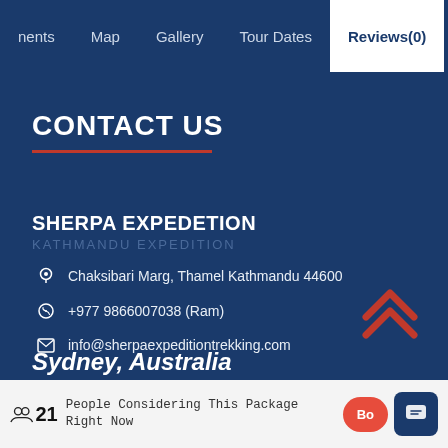nents   Map   Gallery   Tour Dates   Reviews(0)
CONTACT US
SHERPA EXPEDETION
KATHMANDU EXPEDITION
Chaksibari Marg, Thamel Kathmandu 44600
+977 9866007038 (Ram)
info@sherpaexpeditiontrekking.com
Sydney, Australia
21 People Considering This Package Right Now